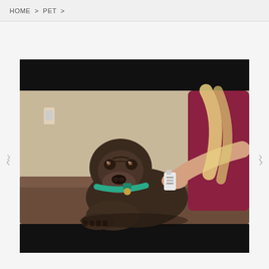HOME  >  PET  >
[Figure (photo): A bulldog with a teal/green collar sits on a brown couch while a person wearing a dark red/maroon top applies something (spray product) to the dog's neck/back area. The person has long blonde hair. The image has black bars at the top and bottom (letterbox format).]